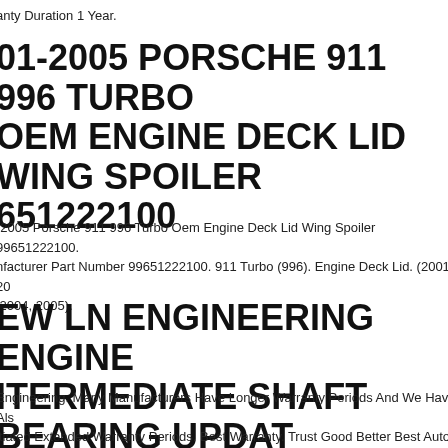anty Duration 1 Year.
01-2005 PORSCHE 911 996 TURBO OEM ENGINE DECK LID WING SPOILER 651222100
-2005 Porsche 911 996 Turbo Oem Engine Deck Lid Wing Spoiler 99651222100. nfacturer Part Number 99651222100. 911 Turbo (996). Engine Deck Lid. (2001, 20 2004, 2005).
EW LN ENGINEERING ENGINE ITERMEDIATE SHAFT BEARING UPDAT T 1060820
Engineering. Many Manufacturers Have Longer Warranty Periods And We Have Als itiated Extended Warranty Periods. Best Warranty. Trust Good Better Best Auto P ovide A Professional And Quality Parts Selection.